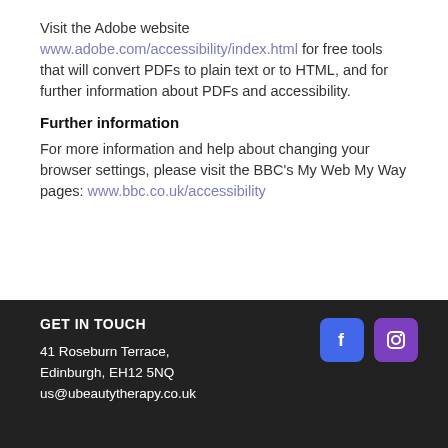Visit the Adobe website www.adobe.com/accessibility/index.html for free tools that will convert PDFs to plain text or to HTML, and for further information about PDFs and accessibility.
Further information
For more information and help about changing your browser settings, please visit the BBC's My Web My Way pages: www.bbc.co.uk/accessibility
GET IN TOUCH
41 Roseburn Terrace,
Edinburgh, EH12 5NQ
us@ubeautytherapy.co.uk